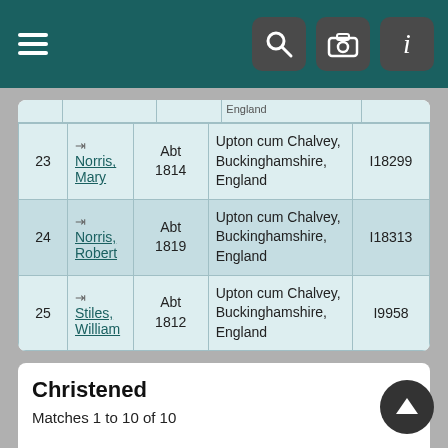Navigation bar with menu, search, camera, and info icons
|  | Last Name, Given Name(s) | Born | Birthplace | Person ID |
| --- | --- | --- | --- | --- |
| 23 | Norris, Mary | Abt 1814 | Upton cum Chalvey, Buckinghamshire, England | I18299 |
| 24 | Norris, Robert | Abt 1819 | Upton cum Chalvey, Buckinghamshire, England | I18313 |
| 25 | Stiles, William | Abt 1812 | Upton cum Chalvey, Buckinghamshire, England | I9958 |
Christened
Matches 1 to 10 of 10
|  | Last Name, Given Name(s) | Christened | Person ID |
| --- | --- | --- | --- |
| 1 | Bates, Ann | 21 Jul 1822 | Upton cum Chalvey, Buckinghamshire, England | I170... |